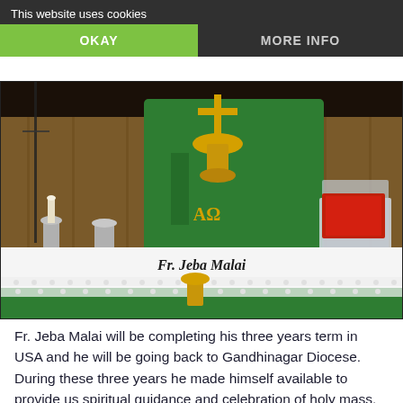This website uses cookies
OKAY
MORE INFO
[Figure (photo): A priest in green vestments celebrating holy mass at an altar, holding a chalice and golden cross. Text on altar cloth reads 'Fr. Jeba Malai'. Altar has candles, chalices, and a red book on a lectern. Church interior with wooden paneling visible in background.]
Fr. Jeba Malai will be completing his three years term in USA and he will be going back to Gandhinagar Diocese. During these three years he made himself available to provide us spiritual guidance and celebration of holy mass.  We are grateful for his blessings.
Gujarati Catholic Samaj of USA invites all to join us for a